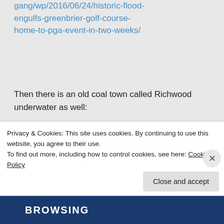gang/wp/2016/06/24/historic-flood-engulfs-greenbrier-golf-course-home-to-pga-event-in-two-weeks/
Then there is an old coal town called Richwood underwater as well:
http://videos.register-herald.com/register-herald/viydtd?v=autoplay_postroll&e=e0018&opn=right_rail_embed
Privacy & Cookies: This site uses cookies. By continuing to use this website, you agree to their use.
To find out more, including how to control cookies, see here: Cookie Policy
Close and accept
BROWNING